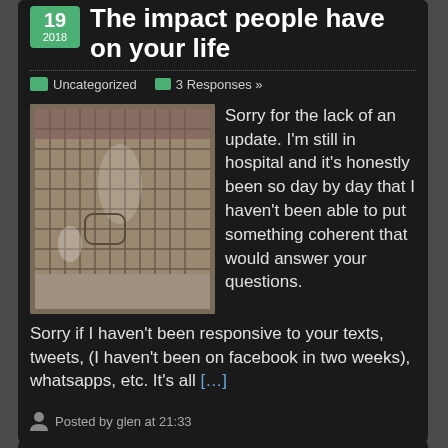The impact people have on your life
Uncategorized   3 Responses »
[Figure (photo): A photo of what appears to be a woven or latticed wooden door or wall panel]
Sorry for the lack of an update. I'm still in hospital and it's honestly been so day by day that I haven't been able to put something coherent that would answer your questions. Sorry if I haven't been responsive to your texts, tweets, (I haven't been on facebook in two weeks), whatsapps, etc. It's all [...]
Posted by glen at 21:33